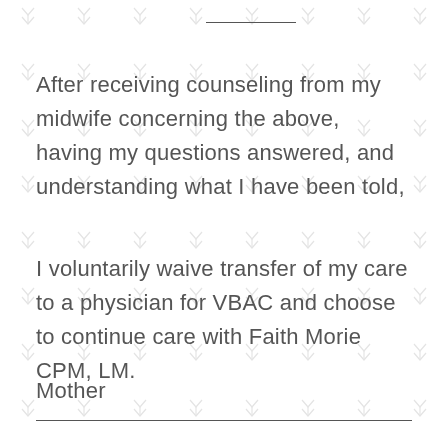______
After receiving counseling from my midwife concerning the above, having my questions answered, and understanding what I have been told,
I voluntarily waive transfer of my care to a physician for VBAC and choose to continue care with Faith Morie CPM, LM.
Mother
___________________________________